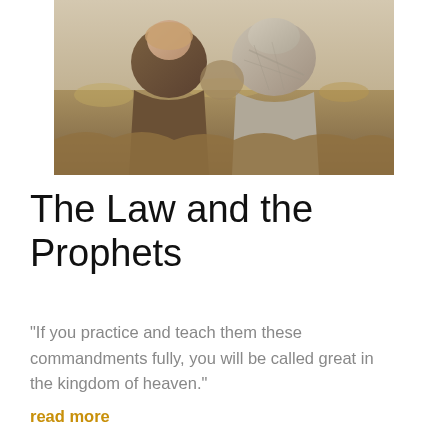[Figure (photo): Two figures seen from behind, wearing robes and head coverings, seated outdoors in a dry, scrubby landscape]
The Law and the Prophets
“If you practice and teach them these commandments fully, you will be called great in the kingdom of heaven.”
read more